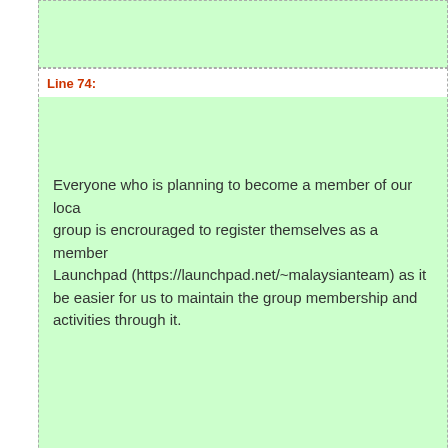Line 74:
Everyone who is planning to become a member of our local group is encrouraged to register themselves as a member on Launchpad (https://launchpad.net/~malaysianteam) as it will be easier for us to maintain the group membership and activities through it.
Introduction
This is the wiki page of the Malaysian Local Community Team. flavours as well as advocating the use of Ubuntu to individuals chatroom.
The group is meant for anyone in Malaysia who uses or is interested in others. Everyone is welcome to join the group regardless whether